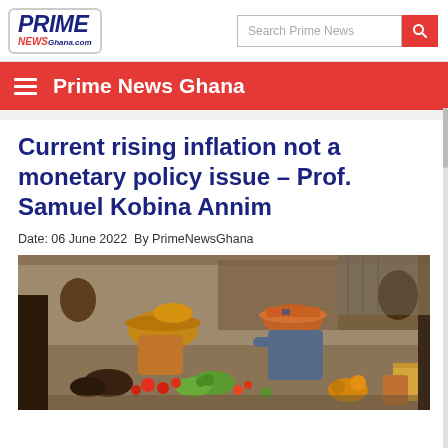Prime News Ghana - primenewsghana.com
Current rising inflation not a monetary policy issue – Prof. Samuel Kobina Annim
Date: 06 June 2022  By PrimeNewsGhana
[Figure (photo): Market scene showing women vendors selling vegetables and produce at an open-air market in Ghana]